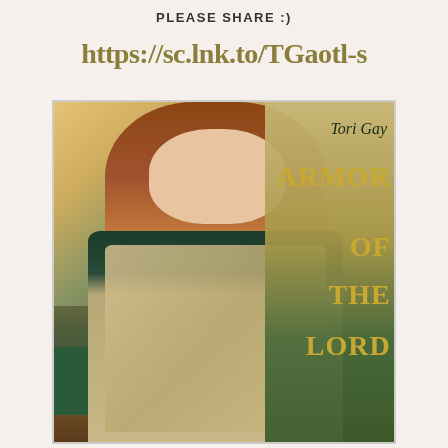PLEASE SHARE :)
https://sc.lnk.to/TGaotl-s
[Figure (photo): Photo of Tori Gay standing in a church interior, with a book cover overlay showing 'Tori Gay ARMOR OF THE LORD' in gold lettering on the right side. She has long auburn hair and is wearing a cream/gold wrap over a dark top with a butterfly necklace.]